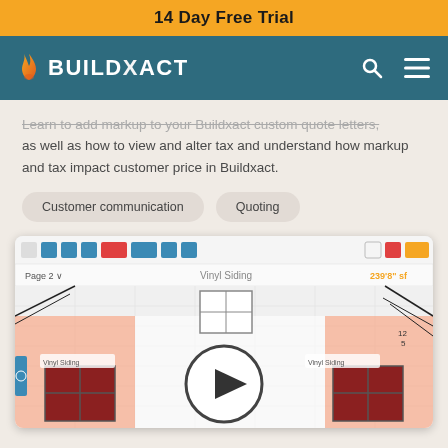14 Day Free Trial
[Figure (logo): Buildxact logo with flame icon on teal navigation bar with search and menu icons]
Learn to add markup to your Buildxact custom quote letters, as well as how to view and alter tax and understand how markup and tax impact customer price in Buildxact.
Customer communication
Quoting
[Figure (screenshot): Screenshot of Buildxact takeoff software showing a building floor plan with vinyl siding measurement of 239'8", with a video play button overlaid in the center]